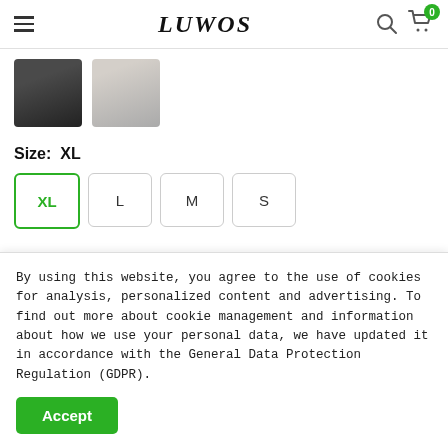LUWOS
[Figure (photo): Two product thumbnail images showing clothing items (dark shorts and light-colored clothing)]
Size: XL
XL  L  M  S (size selector buttons, XL selected)
Price:  £16.99
By using this website, you agree to the use of cookies for analysis, personalized content and advertising. To find out more about cookie management and information about how we use your personal data, we have updated it in accordance with the General Data Protection Regulation (GDPR).
Accept